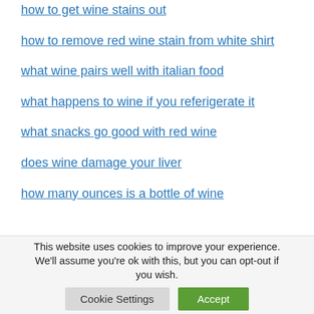how to get wine stains out
how to remove red wine stain from white shirt
what wine pairs well with italian food
what happens to wine if you referigerate it
what snacks go good with red wine
does wine damage your liver
how many ounces is a bottle of wine
This website uses cookies to improve your experience. We'll assume you're ok with this, but you can opt-out if you wish.
Cookie Settings | Accept